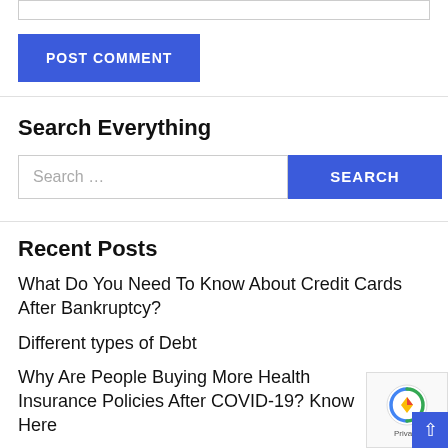[Figure (other): Top border/input field partial view]
POST COMMENT
Search Everything
Search ...
SEARCH
Recent Posts
What Do You Need To Know About Credit Cards After Bankruptcy?
Different types of Debt
Why Are People Buying More Health Insurance Policies After COVID-19? Know Here
Reasons Why Women Need Comprehensive Health Insurance